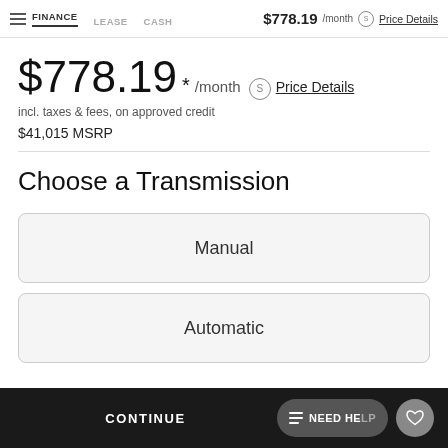FINANCE   LEASE   CASH   $778.19 /month   Price Details
$778.19 * /month   Price Details
incl. taxes & fees, on approved credit
$41,015 MSRP
Choose a Transmission
Manual
Automatic
CONTINUE   NEED HELP